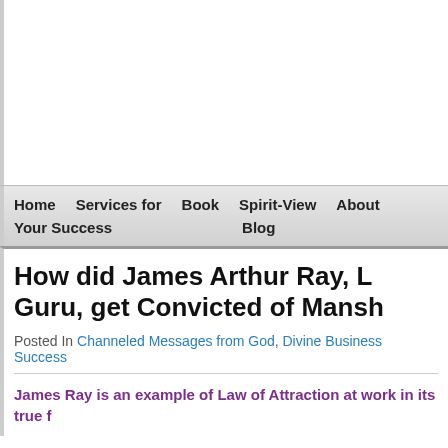Home  Services for  Book  Spirit-View  About
Your Success  Blog
How did James Arthur Ray, L... Guru, get Convicted of Mansl...
Posted In Channeled Messages from God, Divine Business Success...
James Ray is an example of Law of Attraction at work in its true f...